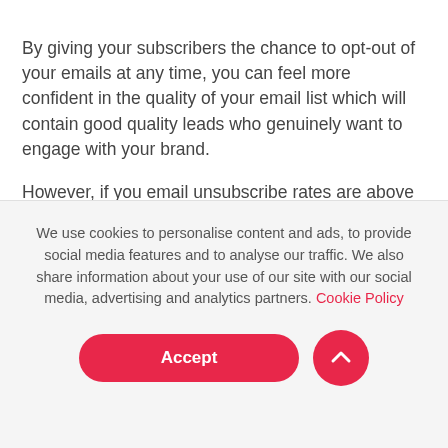By giving your subscribers the chance to opt-out of your emails at any time, you can feel more confident in the quality of your email list which will contain good quality leads who genuinely want to engage with your brand.
However, if you email unsubscribe rates are above 2%, it might be a good idea to look into how to reduce your unsubscribe rates.
We use cookies to personalise content and ads, to provide social media features and to analyse our traffic. We also share information about your use of our site with our social media, advertising and analytics partners. Cookie Policy
the percentage of emails you sent that didn't reach